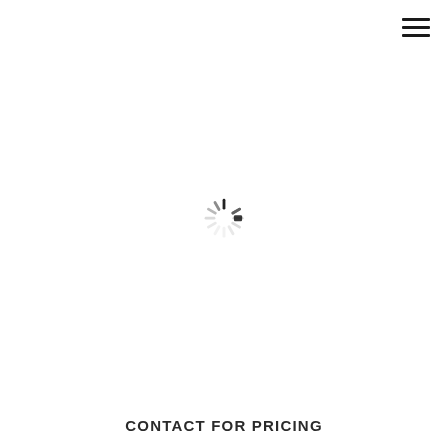[Figure (other): Hamburger menu icon with three horizontal lines in top-right corner]
[Figure (other): Loading spinner icon centered on the page, a sunburst/radial lines pattern in gray]
CONTACT FOR PRICING